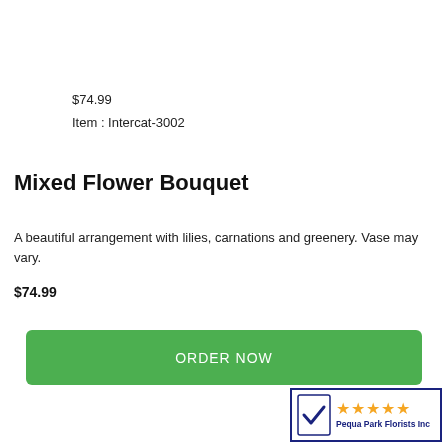$74.99
Item : Intercat-3002
Mixed Flower Bouquet
A beautiful arrangement with lilies, carnations and greenery. Vase may vary.
$74.99
ORDER NOW
[Figure (logo): Pequa Park Florists Inc badge with blue checkmark and five orange stars]